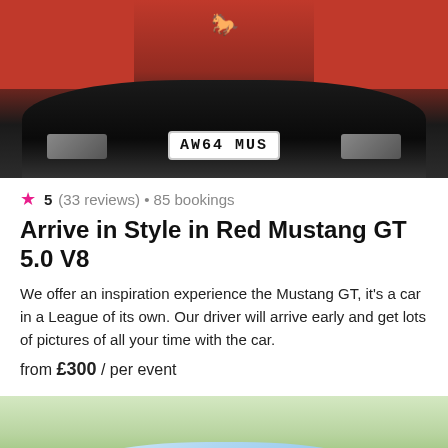[Figure (photo): Front view of a red Ford Mustang GT with license plate AW64 MUS]
5 (33 reviews) • 85 bookings
Arrive in Style in Red Mustang GT 5.0 V8
We offer an inspiration experience the Mustang GT, it's a car in a League of its own. Our driver will arrive early and get lots of pictures of all your time with the car.
from £300 / per event
[Figure (photo): Light blue vintage Fiat 500 with a wicker basket and flowers on the boot, parked outdoors]